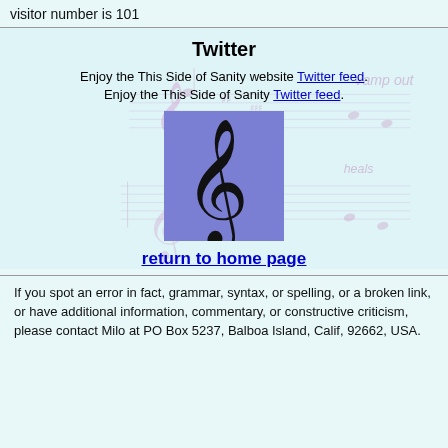visitor number is 101
Twitter
Enjoy the This Side of Sanity website Twitter feed.
Enjoy the This Side of Sanity Twitter feed.
[Figure (illustration): Treble clef symbol on purple/blue square background]
return to home page
If you spot an error in fact, grammar, syntax, or spelling, or a broken link, or have additional information, commentary, or constructive criticism, please contact Milo at PO Box 5237, Balboa Island, Calif, 92662, USA.